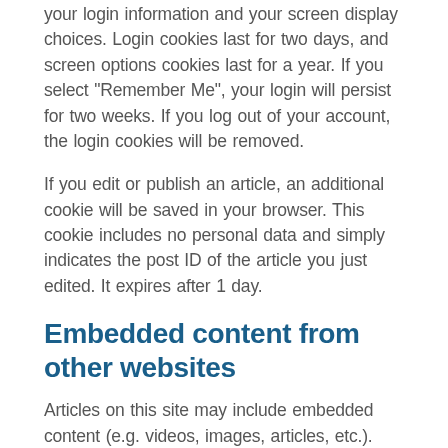your login information and your screen display choices. Login cookies last for two days, and screen options cookies last for a year. If you select “Remember Me”, your login will persist for two weeks. If you log out of your account, the login cookies will be removed.
If you edit or publish an article, an additional cookie will be saved in your browser. This cookie includes no personal data and simply indicates the post ID of the article you just edited. It expires after 1 day.
Embedded content from other websites
Articles on this site may include embedded content (e.g. videos, images, articles, etc.). Embedded content from other websites behaves in the exact same way as if the visitor has visited the other website.
These websites may collect data about you, use cookies, embed additional third-party tracking, and monitor your interaction with that embedded content, including tracking